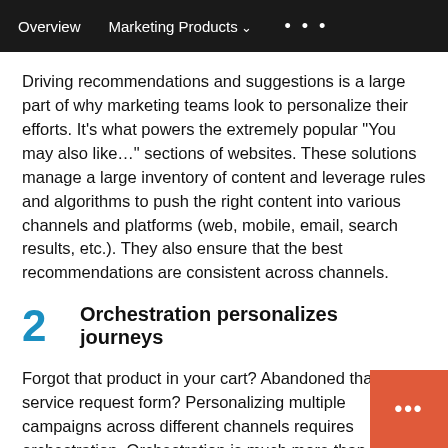Overview   Marketing Products   ...
Driving recommendations and suggestions is a large part of why marketing teams look to personalize their efforts. It’s what powers the extremely popular “You may also like…” sections of websites. These solutions manage a large inventory of content and leverage rules and algorithms to push the right content into various channels and platforms (web, mobile, email, search results, etc.). They also ensure that the best recommendations are consistent across channels.
2   Orchestration personalizes journeys
Forgot that product in your cart? Abandoned that service request form? Personalizing multiple campaigns across different channels requires orchestration. Orchestration is much more than management. It manages the connections and dependencies between the systems are used to communicate with a customer, not just marketing messages, but also other areas of the b…